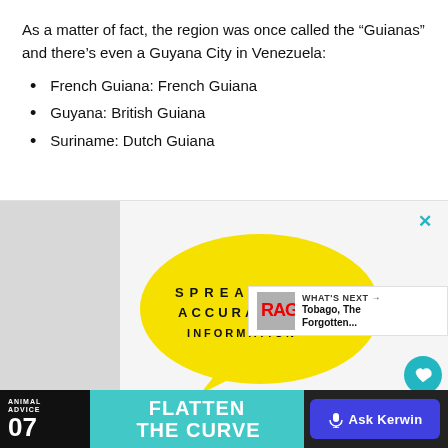As a matter of fact, the region was once called the “Guianas” and there’s even a Guyana City in Venezuela:
French Guiana: French Guiana
Guyana: British Guiana
Suriname: Dutch Guiana
[Figure (infographic): Yellow speech bubble with text 'SPREAD ACCURATE INFORMATION' in bold spaced black letters on yellow background, inside an ad area with grey background]
[Figure (infographic): Bottom banner ad with 'ANIMAL ADVICE 07', 'FLATTEN THE CURVE' text on teal background, and 'Ask Kerwin' button in blue]